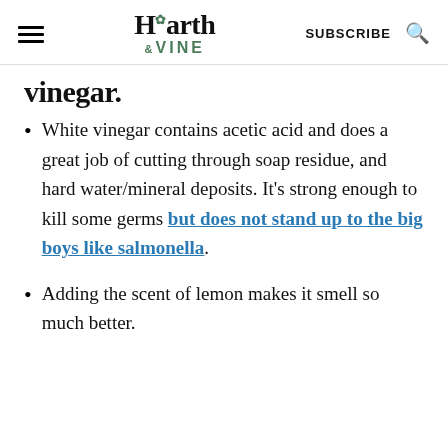Hearth & VINE | SUBSCRIBE
vinegar.
White vinegar contains acetic acid and does a great job of cutting through soap residue, and hard water/mineral deposits. It's strong enough to kill some germs but does not stand up to the big boys like salmonella.
Adding the scent of lemon makes it smell so much better.